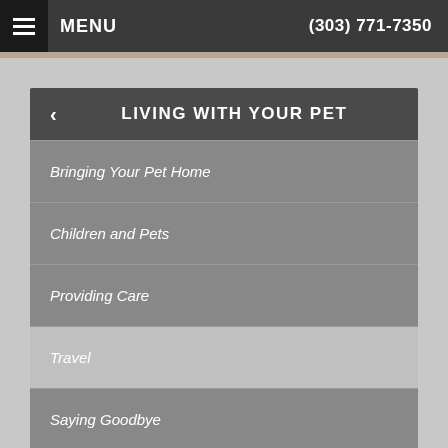MENU  (303) 771-7350
LIVING WITH YOUR PET
Bringing Your Pet Home
Children and Pets
Providing Care
Travel
Saying Goodbye